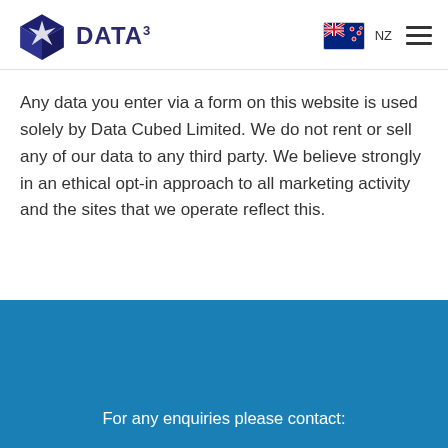DATA³ | NZ
Any data you enter via a form on this website is used solely by Data Cubed Limited. We do not rent or sell any of our data to any third party. We believe strongly in an ethical opt-in approach to all marketing activity and the sites that we operate reflect this.
For any enquiries please contact: